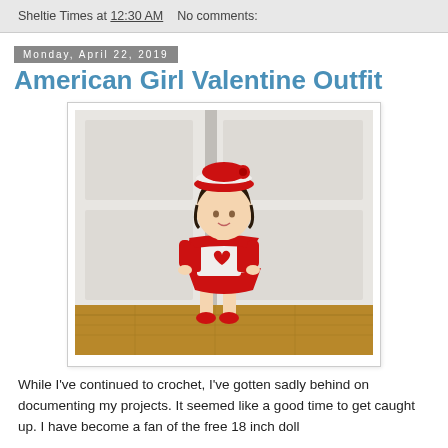Sheltie Times at 12:30 AM   No comments:
Monday, April 22, 2019
American Girl Valentine Outfit
[Figure (photo): An 18-inch American Girl doll wearing a crocheted Valentine outfit consisting of a red beret-style hat with white stripe, a white dress with a red heart, a red short-sleeved cardigan, a red skirt, and red shoes. The doll has dark hair and stands in front of white wooden doors on a wood floor.]
While I've continued to crochet, I've gotten sadly behind on documenting my projects. It seemed like a good time to get caught up. I have become a fan of the free 18 inch doll